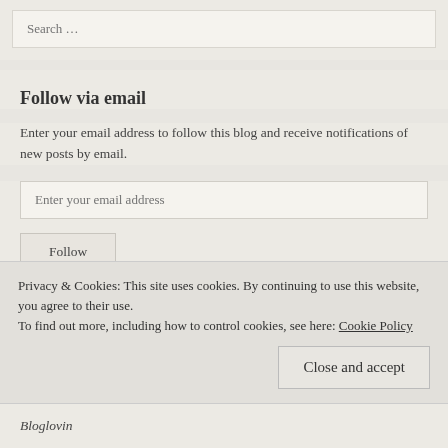Search …
Follow via email
Enter your email address to follow this blog and receive notifications of new posts by email.
Enter your email address
Follow
Join 981 other followers
Privacy & Cookies: This site uses cookies. By continuing to use this website, you agree to their use.
To find out more, including how to control cookies, see here: Cookie Policy
Close and accept
Bloglovin